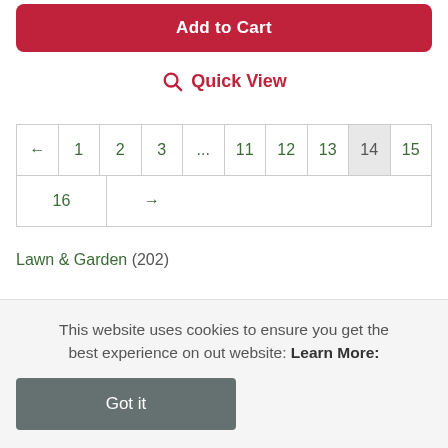[Figure (screenshot): Add to Cart button - red rounded rectangle]
Quick View
| ← | 1 | 2 | 3 | ... | 11 | 12 | 13 | 14 | 15 |
| --- | --- | --- | --- | --- | --- | --- | --- | --- | --- |
| 16 | → |  |  |  |  |  |  |  |  |
Lawn & Garden (202)
This website uses cookies to ensure you get the best experience on out website: Learn More:
Got it